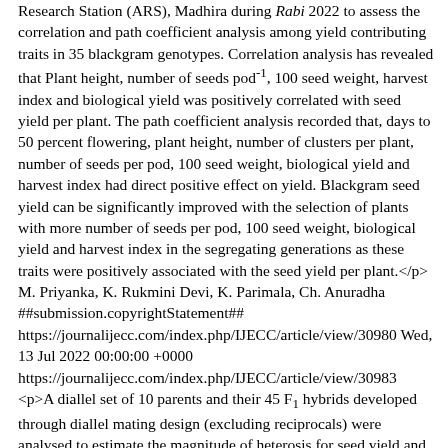Research Station (ARS), Madhira during Rabi 2022 to assess the correlation and path coefficient analysis among yield contributing traits in 35 blackgram genotypes. Correlation analysis has revealed that Plant height, number of seeds pod-1, 100 seed weight, harvest index and biological yield was positively correlated with seed yield per plant. The path coefficient analysis recorded that, days to 50 percent flowering, plant height, number of clusters per plant, number of seeds per pod, 100 seed weight, biological yield and harvest index had direct positive effect on yield. Blackgram seed yield can be significantly improved with the selection of plants with more number of seeds per pod, 100 seed weight, biological yield and harvest index in the segregating generations as these traits were positively associated with the seed yield per plant.</p> M. Priyanka, K. Rukmini Devi, K. Parimala, Ch. Anuradha ##submission.copyrightStatement## https://journalijecc.com/index.php/IJECC/article/view/30980 Wed, 13 Jul 2022 00:00:00 +0000 https://journalijecc.com/index.php/IJECC/article/view/30983 <p>A diallel set of 10 parents and their 45 F1 hybrids developed through diallel mating design (excluding reciprocals) were analysed to estimate the magnitude of heterosis for seed yield and its component in fenugreek. The present study was conducted at Main Experimental Station, Department of Vegetable Science, Acharya Narendra Deva University of Agriculture and Technology, Narendra Nagar (Kumarganj), Ayodhya (UP), India, during